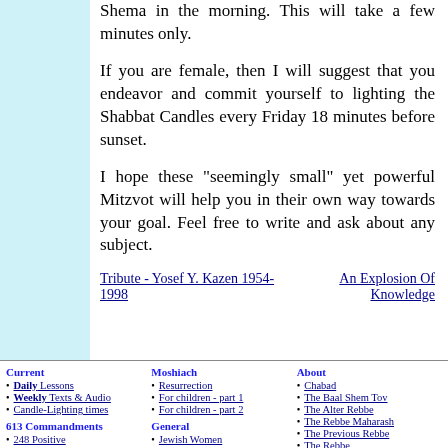Shema in the morning. This will take a few minutes only.
If you are female, then I will suggest that you endeavor and commit yourself to lighting the Shabbat Candles every Friday 18 minutes before sunset.
I hope these "seemingly small" yet powerful Mitzvot will help you in their own way towards your goal. Feel free to write and ask about any subject.
Tribute - Yosef Y. Kazen 1954-1998
An Explosion Of Knowledge
Current
Daily Lessons
Weekly Texts & Audio
Candle-Lighting times
613 Commandments
248 Positive
365 Negative
PDA
BlackBerry
Moshiach
Resurrection
For children - part 1
For children - part 2
General
Jewish Women
Holiday guides
About Holidays
The Hebrew Alphabet
Hebrew/English Calendar
About
Chabad
The Baal Shem Tov
The Alter Rebbe
The Rebbe Maharash
The Previous Rebbe
The Rebbe
Mitzvah Campaign
Children's Corner
Rabbi Riddle